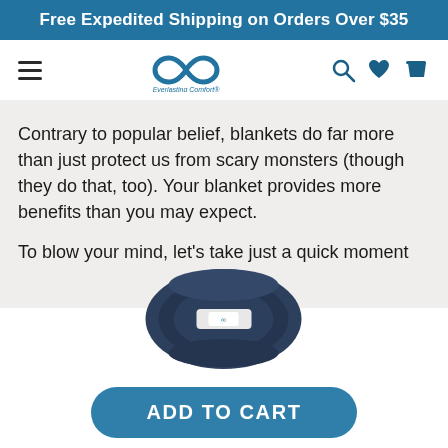Free Expedited Shipping on Orders Over $35
[Figure (logo): Everlasting Comfort logo with infinity symbol and navigation icons (hamburger menu, search, heart, cart)]
Contrary to popular belief, blankets do far more than just protect us from scary monsters (though they do that, too). Your blanket provides more benefits than you may expect.
To blow your mind, let’s take just a quick moment
[Figure (photo): A navy blue folded blanket with an Everlasting Comfort label tied around it]
ADD TO CART